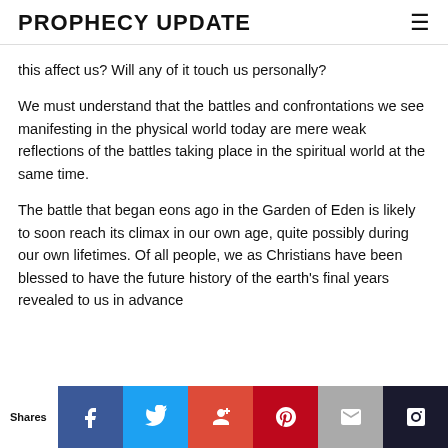PROPHECY UPDATE
this affect us? Will any of it touch us personally?
We must understand that the battles and confrontations we see manifesting in the physical world today are mere weak reflections of the battles taking place in the spiritual world at the same time.
The battle that began eons ago in the Garden of Eden is likely to soon reach its climax in our own age, quite possibly during our own lifetimes. Of all people, we as Christians have been blessed to have the future history of the earth's final years revealed to us in advance
Shares | Facebook | Twitter | Google+ | Pinterest | Email |